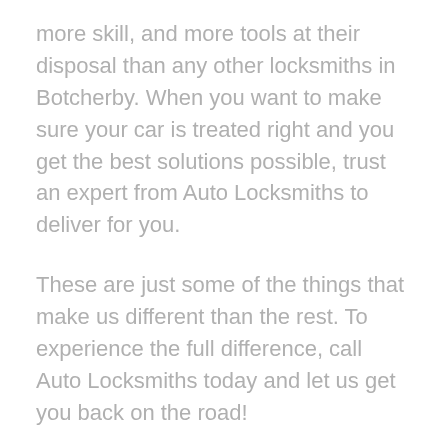more skill, and more tools at their disposal than any other locksmiths in Botcherby. When you want to make sure your car is treated right and you get the best solutions possible, trust an expert from Auto Locksmiths to deliver for you.
These are just some of the things that make us different than the rest. To experience the full difference, call Auto Locksmiths today and let us get you back on the road!
It seems like every customer who calls us for locksmith help is in a hurry. Why does it seem to be that the day you lock your keys in your car is the day you're late for an important meeting? Or the day